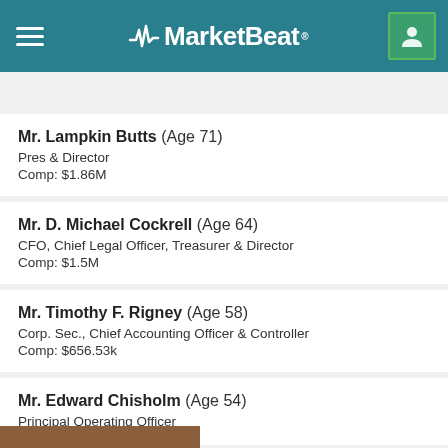MarketBeat
PROFILE | ANALYST RATINGS | CHART | COMPETITORS | DIVIDEND | EARNINGS
Mr. Lampkin Butts (Age 71)
Pres & Director
Comp: $1.86M
Mr. D. Michael Cockrell (Age 64)
CFO, Chief Legal Officer, Treasurer & Director
Comp: $1.5M
Mr. Timothy F. Rigney (Age 58)
Corp. Sec., Chief Accounting Officer & Controller
Comp: $656.53k
Mr. Edward Chisholm (Age 54)
Principal Operating Officer